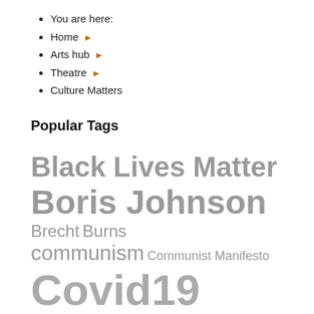You are here:
Home ▶
Arts hub ▶
Theatre ▶
Culture Matters
Popular Tags
Black Lives Matter Boris Johnson Brecht Burns communism Communist Manifesto Covid19 Cultural democracy cultural struggle culture Dominic Cummings Eisenstein George Orwell jeremy corbyn